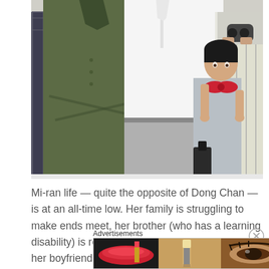[Figure (photo): Group of people outdoors: a man in olive green jacket with arms crossed, another in white shirt, a young child in red bow dress, and others in background including someone with binoculars]
Mi-ran life — quite the opposite of Dong Chan — is at an all-time low. Her family is struggling to make ends meet, her brother (who has a learning disability) is relentlessly bullied and she finds out her boyfriend has been cheating on her. In the hope that crypogenics holds the key to cure her brother, Mi-ran agrees to participate in the experiment.
Advertisements
[Figure (photo): ULTA beauty advertisement banner showing makeup imagery — lips with red lipstick, a makeup brush, an eye with makeup, the ULTA logo, and another eye with dramatic makeup, with SHOP NOW button]